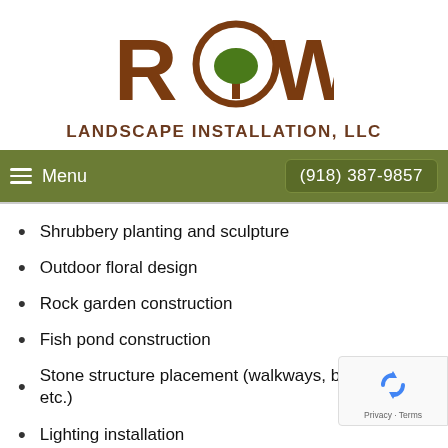[Figure (logo): Rowe Landscape Installation LLC logo with a tree inside the letter O, brown text reading ROWE and LANDSCAPE INSTALLATION, LLC]
Menu   (918) 387-9857
Shrubbery planting and sculpture
Outdoor floral design
Rock garden construction
Fish pond construction
Stone structure placement (walkways, benches, etc.)
Lighting installation
[Figure (logo): Google reCAPTCHA badge with Privacy · Terms text]